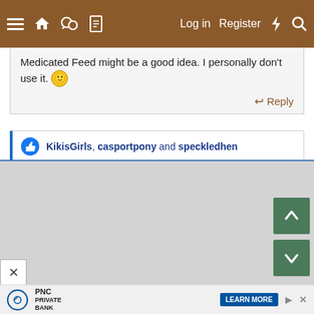≡  🏠  💬  📄    Log in   Register  ⚡  🔍
Medicated Feed might be a good idea. I personally don't use it. 🙂
↩ Reply
KikisGirls, casportpony and speckledhen
[Figure (other): Gray empty content area / second post block with up and down navigation buttons (green squares with white arrows)]
✕
[Figure (other): PNC Private Bank advertisement banner with logo, LEARN MORE button]